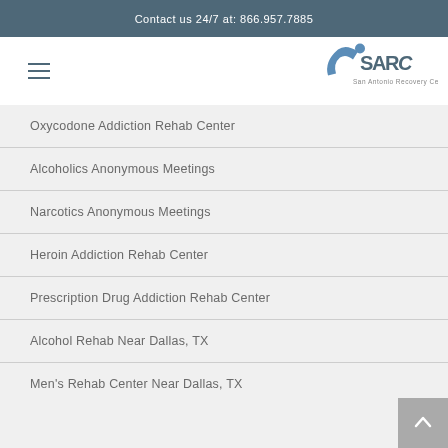Contact us 24/7 at: 866.957.7885
[Figure (logo): SARC San Antonio Recovery Center logo with stylized figure]
Oxycodone Addiction Rehab Center
Alcoholics Anonymous Meetings
Narcotics Anonymous Meetings
Heroin Addiction Rehab Center
Prescription Drug Addiction Rehab Center
Alcohol Rehab Near Dallas, TX
Men's Rehab Center Near Dallas, TX